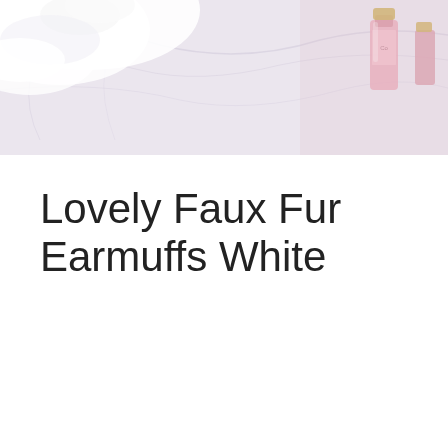[Figure (photo): Top portion of the page shows a lifestyle/product photo with a soft, light background featuring white fluffy faux fur earmuffs and a pink perfume bottle on a marble-like surface.]
Lovely Faux Fur Earmuffs White